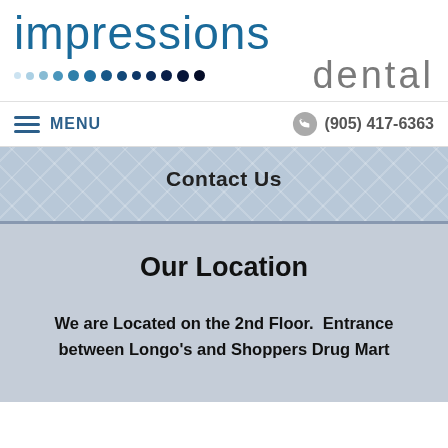[Figure (logo): Impressions Dental logo with blue text 'impressions' and gray 'dental' with gradient dots row]
MENU   (905) 417-6363
Contact Us
Our Location
We are Located on the 2nd Floor.  Entrance between Longo's and Shoppers Drug Mart